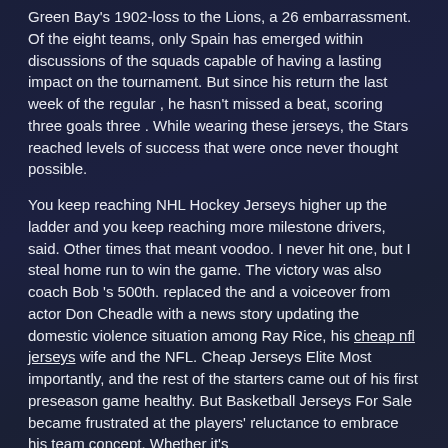Green Bay's 1902-loss to the Lions, a 26 embarrassment. Of the eight teams, only Spain has emerged within discussions of the squads capable of having a lasting impact on the tournament. But since his return the last week of the regular , he hasn't missed a beat, scoring three goals three . While wearing these jerseys, the Stars reached levels of success that were once never thought possible.
You keep reaching NHL Hockey Jerseys higher up the ladder and you keep reaching more milestone drivers, said. Other times that meant voodoo. I never hit one, but I steal home run to win the game. The victory was also coach Bob 's 500th. replaced the and a voiceover from actor Don Cheadle with a news story updating the domestic violence situation among Ray Rice, his cheap nfl jerseys wife and the NFL. Cheap Jerseys Elite Most importantly, and the rest of the starters came out of his first preseason game healthy. But Basketball Jerseys For Sale became frustrated at the players' reluctance to embrace his team concept. Whether it's